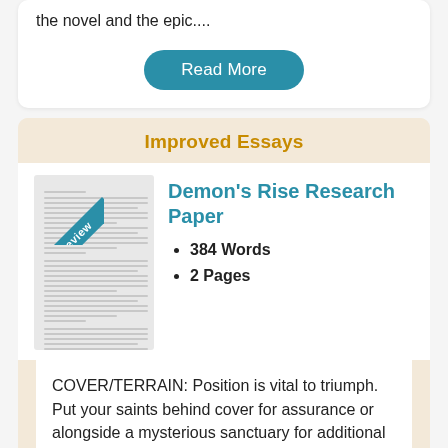the novel and the epic....
Read More
Improved Essays
[Figure (illustration): Preview thumbnail of a research paper document with a teal 'Preview' banner in the top-left corner]
Demon's Rise Research Paper
384 Words
2 Pages
COVER/TERRAIN: Position is vital to triumph. Put your saints behind cover for assurance or alongside a mysterious sanctuary for additional power. Resolve: Your legends and their foes may freeze when they see the fight go severely or enter a